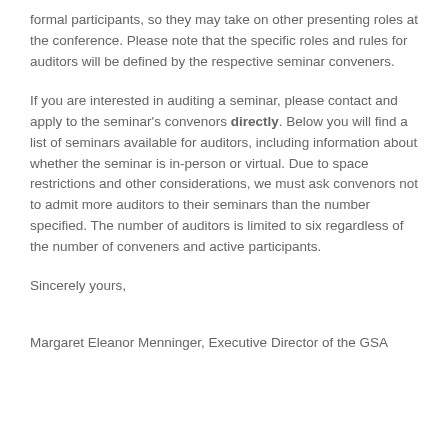formal participants, so they may take on other presenting roles at the conference. Please note that the specific roles and rules for auditors will be defined by the respective seminar conveners.
If you are interested in auditing a seminar, please contact and apply to the seminar's convenors directly. Below you will find a list of seminars available for auditors, including information about whether the seminar is in-person or virtual. Due to space restrictions and other considerations, we must ask convenors not to admit more auditors to their seminars than the number specified. The number of auditors is limited to six regardless of the number of conveners and active participants.
Sincerely yours,
Margaret Eleanor Menninger, Executive Director of the GSA